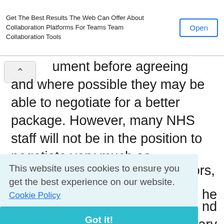[Figure (screenshot): Ad banner: 'Get The Best Results The Web Can Offer About Collaboration Platforms For Teams Team Collaboration Tools' with an 'Open' button]
ument before agreeing and where possible they may be able to negotiate for a better package. However, many NHS staff will not be in the position to negotiate very much as managers must make sure that equality between staff in the same jobs is maintained.
Staff in private healthcare sectors however ... nd ... salary ... ining ... le to ... ry ... he individual is maintained.
[Figure (screenshot): Cookie consent overlay: 'This website uses cookies to ensure you get the best experience on our website. Cookie Policy [Got it! button]']